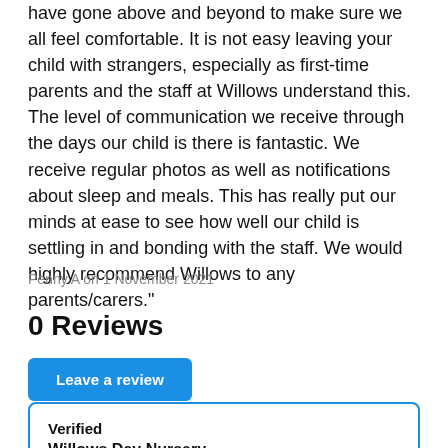have gone above and beyond to make sure we all feel comfortable. It is not easy leaving your child with strangers, especially as first-time parents and the staff at Willows understand this. The level of communication we receive through the days our child is there is fantastic. We receive regular photos as well as notifications about sleep and meals. This has really put our minds at ease to see how well our child is settling in and bonding with the staff. We would highly recommend Willows to any parents/carers."
Penny A on 1 November 2021
0 Reviews
Leave a review
Verified
Willows Day Nursery